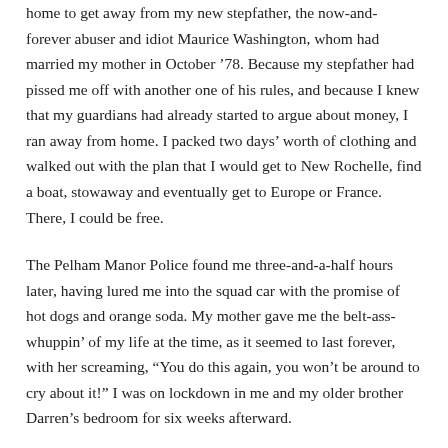home to get away from my new stepfather, the now-and-forever abuser and idiot Maurice Washington, whom had married my mother in October '78. Because my stepfather had pissed me off with another one of his rules, and because I knew that my guardians had already started to argue about money, I ran away from home. I packed two days' worth of clothing and walked out with the plan that I would get to New Rochelle, find a boat, stowaway and eventually get to Europe or France. There, I could be free.
The Pelham Manor Police found me three-and-a-half hours later, having lured me into the squad car with the promise of hot dogs and orange soda. My mother gave me the belt-ass-whuppin' of my life at the time, as it seemed to last forever, with her screaming, “You do this again, you won't be around to cry about it!” I was on lockdown in me and my older brother Darren's bedroom for six weeks afterward.